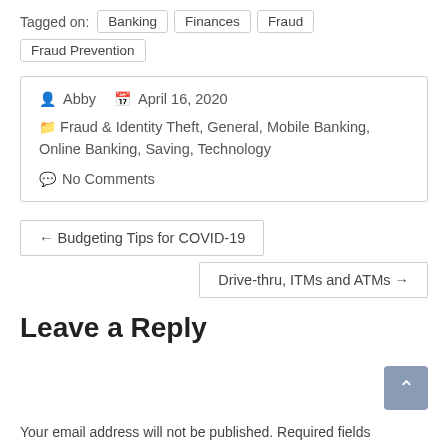Tagged on: Banking Finances Fraud Fraud Prevention
Abby April 16, 2020 Fraud & Identity Theft, General, Mobile Banking, Online Banking, Saving, Technology No Comments
← Budgeting Tips for COVID-19
Drive-thru, ITMs and ATMs →
Leave a Reply
Your email address will not be published. Required fields